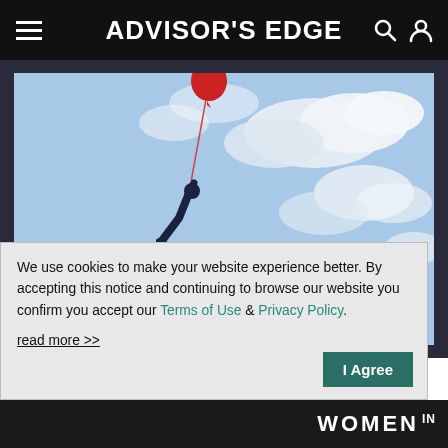ADVISOR'S EDGE
[Figure (photo): Person hanging off a cliff edge holding a red balloon, against a cloudy sky background. Audio/headphone icon visible in bottom-left corner of image.]
We use cookies to make your website experience better. By accepting this notice and continuing to browse our website you confirm you accept our Terms of Use & Privacy Policy.
read more >>
I Agree
WOMEN IN